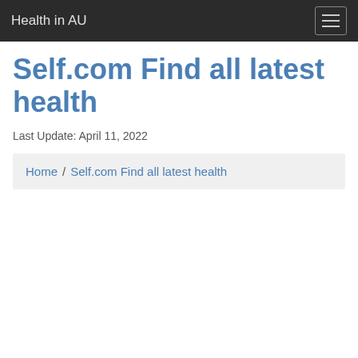Health in AU
Self.com Find all latest health
Last Update: April 11, 2022
Home / Self.com Find all latest health